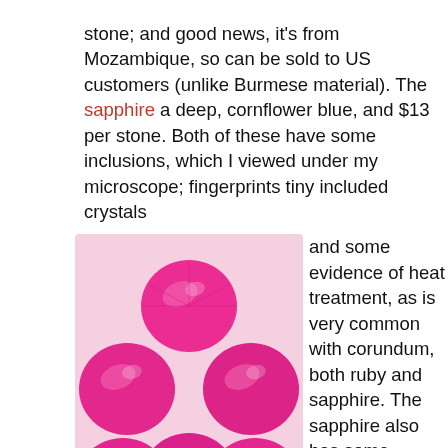stone; and good news, it's from Mozambique, so can be sold to US customers (unlike Burmese material). The sapphire a deep, cornflower blue, and $13 per stone. Both of these have some inclusions, which I viewed under my microscope; fingerprints tiny included crystals and some evidence of heat treatment, as is very common with corundum, both ruby and sapphire. The sapphire also has some angular colour zoning, not very obvious. Now I know that clarity is the holy grail for many people but for me, I am always glad to see a bit of the included crystals and fingerprints
[Figure (photo): A cluster of round faceted hot pink/magenta gemstones (rubies or similar corundum) arranged in a circular pattern on a white/light pink background. Nine stones visible, all brilliant-cut round cabochons with vivid pinkish-red color.]